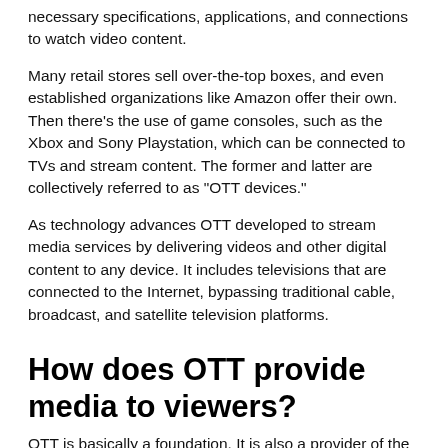necessary specifications, applications, and connections to watch video content.
Many retail stores sell over-the-top boxes, and even established organizations like Amazon offer their own. Then there’s the use of game consoles, such as the Xbox and Sony Playstation, which can be connected to TVs and stream content. The former and latter are collectively referred to as “OTT devices.”
As technology advances OTT developed to stream media services by delivering videos and other digital content to any device. It includes televisions that are connected to the Internet, bypassing traditional cable, broadcast, and satellite television platforms.
How does OTT provide media to viewers?
OTT is basically a foundation. It is also a provider of the OTT platform. When using S… the to… are media…